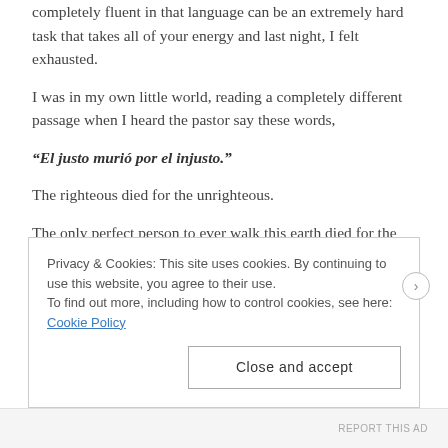completely fluent in that language can be an extremely hard task that takes all of your energy and last night, I felt exhausted.
I was in my own little world, reading a completely different passage when I heard the pastor say these words,
“El justo murió por el injusto.”
The righteous died for the unrighteous.
The only perfect person to ever walk this earth died for the “bad” people, the murderers, the liars, the cheaters, me. He died
Privacy & Cookies: This site uses cookies. By continuing to use this website, you agree to their use.
To find out more, including how to control cookies, see here: Cookie Policy
Close and accept